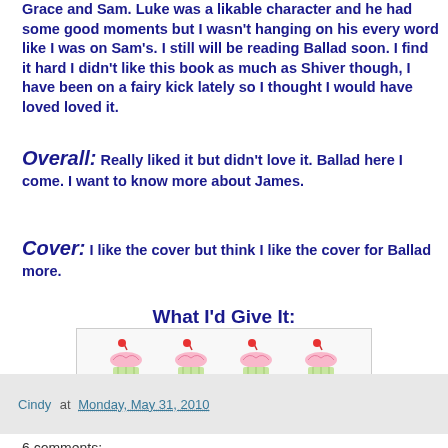Grace and Sam. Luke was a likable character and he had some good moments but I wasn't hanging on his every word like I was on Sam's. I still will be reading Ballad soon. I find it hard I didn't like this book as much as Shiver though, I have been on a fairy kick lately so I thought I would have loved loved it.
Overall: Really liked it but didn't love it. Ballad here I come. I want to know more about James.
Cover: I like the cover but think I like the cover for Ballad more.
What I'd Give It:
[Figure (illustration): Four pink cupcake emoji icons with red cherries on top displayed in a row inside a light gray bordered box, representing a 4-cupcake rating.]
Cindy at Monday, May 31, 2010
6 comments: